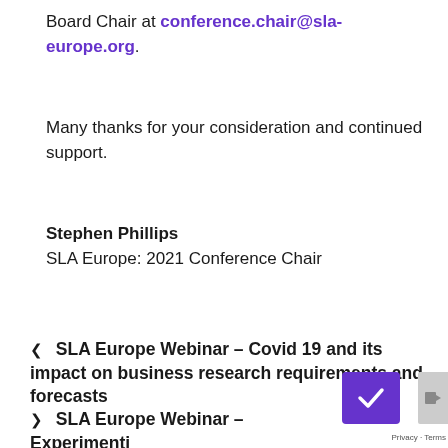Board Chair at conference.chair@sla-europe.org.
Many thanks for your consideration and continued support.
Stephen Phillips
SLA Europe: 2021 Conference Chair
< SLA Europe Webinar – Covid 19 and its impact on business research requirements and forecasts
> SLA Europe Webinar – Experimenting with Mind-Mapping: Concepts and Tools